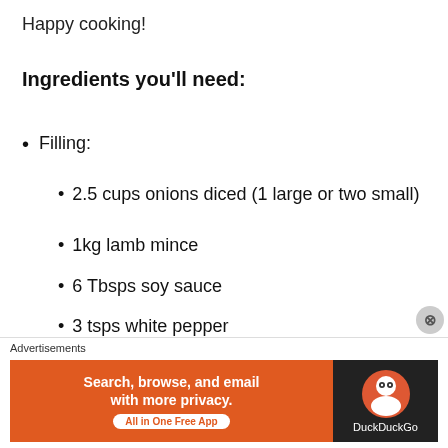Happy cooking!
Ingredients you'll need:
Filling:
2.5 cups onions diced (1 large or two small)
1kg lamb mince
6 Tbsps soy sauce
3 tsps white pepper
1/2 cup shaoxing wine (Chinese cooking wine)
Dough ingredients (Something 100 grams...)
Advertisements — Search, browse, and email with more privacy. All in One Free App — DuckDuckGo